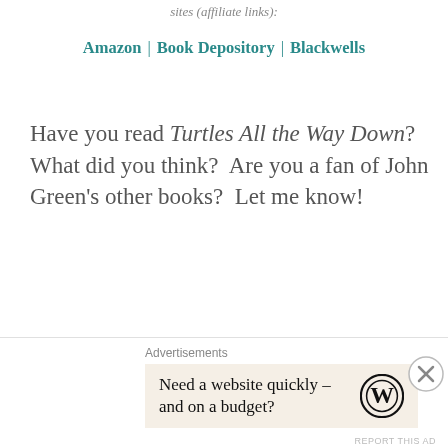sites (affiliate links):
Amazon | Book Depository | Blackwells
Have you read Turtles All the Way Down? What did you think? Are you a fan of John Green's other books? Let me know!
*Copy courtesy of Goodreads
Advertisements
Need a website quickly – and on a budget?